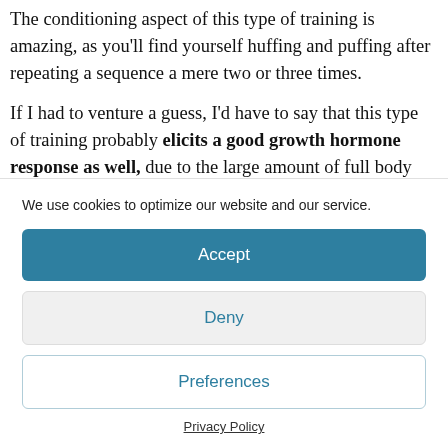The conditioning aspect of this type of training is amazing, as you'll find yourself huffing and puffing after repeating a sequence a mere two or three times.
If I had to venture a guess, I'd have to say that this type of training probably elicits a good growth hormone response as well, due to the large amount of full body work completed in a given time period.
We use cookies to optimize our website and our service.
Accept
Deny
Preferences
Privacy Policy